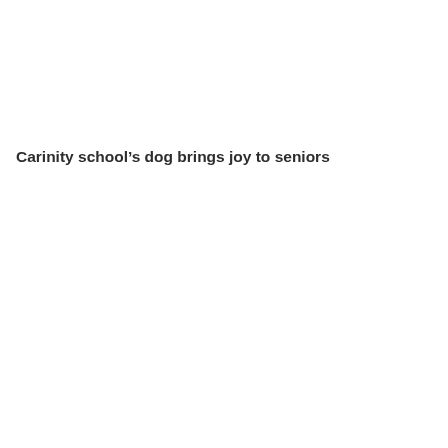Carinity school’s dog brings joy to seniors